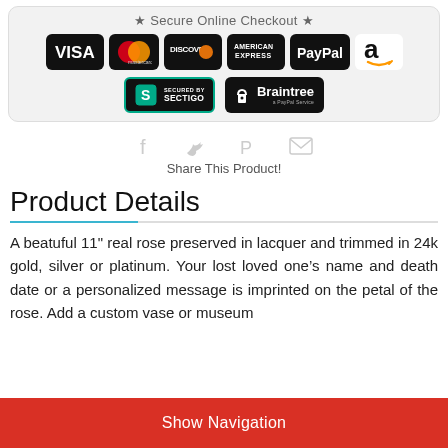[Figure (infographic): Secure Online Checkout section with payment logos: Visa, Mastercard, Discover, American Express, PayPal, Amazon, Secured by Sectigo, and Braintree a PayPal Service]
[Figure (infographic): Social share icons: Facebook, Twitter, Pinterest, Email]
Share This Product!
Product Details
A beatuful 11" real rose preserved in lacquer and trimmed in 24k gold, silver or platinum. Your lost loved one's name and death date or a personalized message is imprinted on the petal of the rose. Add a custom vase or museum
Show Navigation